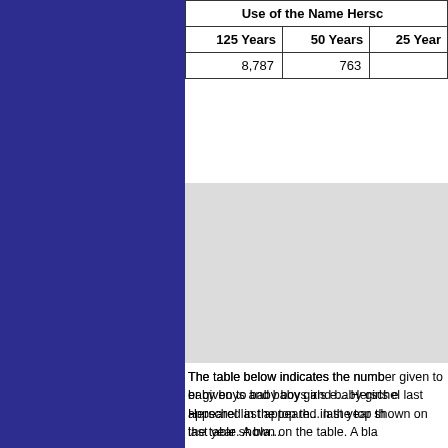| Use of the Name Hersc... | 125 Years | 50 Years | 25 Year... |
| --- | --- | --- | --- |
|  | 8,787 | 763 |  |
[Figure (other): Gray placeholder area for a chart showing use of the name Herschel over time]
The table below indicates the number given to baby boys and baby girls e... Herschel last appeared in the top th... last year shown on the table. A bla...